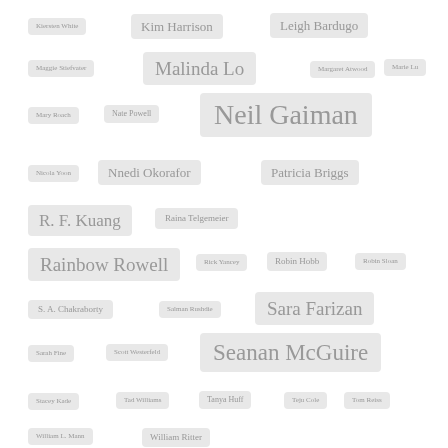Kiersten White
Kim Harrison
Leigh Bardugo
Maggie Stiefvater
Malinda Lo
Margaret Atwood
Marie Lu
Mary Roach
Nate Powell
Neil Gaiman
Nicola Yoon
Nnedi Okorafor
Patricia Briggs
R. F. Kuang
Raina Telgemeier
Rainbow Rowell
Rick Yancey
Robin Hobb
Robin Sloan
S. A. Chakraborty
Salman Rushdie
Sara Farizan
Sarah Fine
Scott Westerfeld
Seanan McGuire
Stacey Kade
Tad Williams
Tanya Huff
Teju Cole
Tom Reiss
William L. Mann
William Ritter